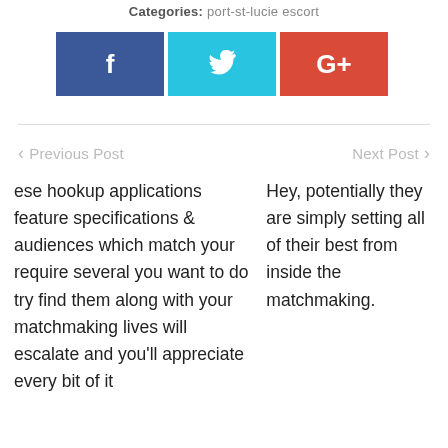Categories: port-st-lucie escort
[Figure (infographic): Three social share buttons: Facebook (blue, f), Twitter (cyan, bird icon), Google+ (red, G+)]
< Previous Post
Next Post >
ese hookup applications feature specifications & audiences which match your require several you want to do try find them along with your matchmaking lives will escalate and you'll appreciate every bit of it
Hey, potentially they are simply setting all of their best from inside the matchmaking.